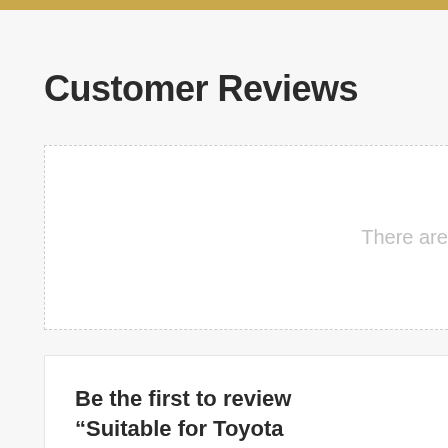Customer Reviews
There are no reviews yet.
Be the first to review “Suitable for Toyota